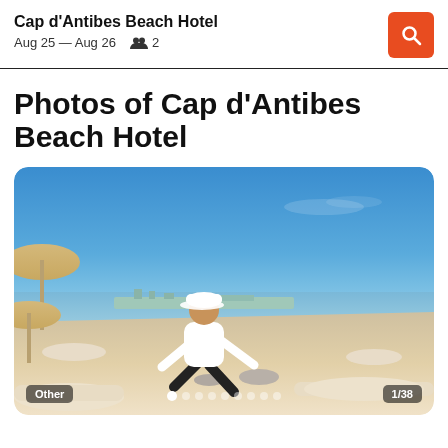Cap d'Antibes Beach Hotel
Aug 25 — Aug 26   2
Photos of Cap d'Antibes Beach Hotel
[Figure (photo): Beach scene at Cap d'Antibes Beach Hotel: a staff member in white cap and shirt arranging rolled towels on white sunbeds on a sandy beach, with blue sea and sky in the background and beige umbrellas on the left. Image is labeled 'Other' and shows 1/38.]